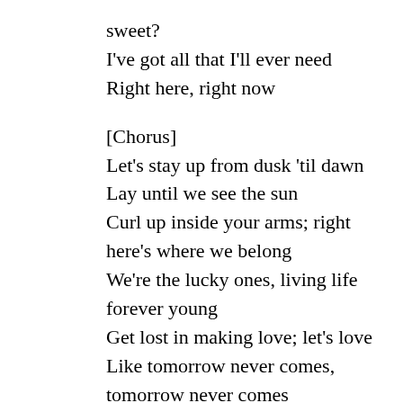sweet?
I've got all that I'll ever need
Right here, right now
[Chorus]
Let's stay up from dusk 'til dawn
Lay until we see the sun
Curl up inside your arms; right here's where we belong
We're the lucky ones, living life forever young
Get lost in making love; let's love
Like tomorrow never comes, tomorrow never comes
Let's stay forever young, yeah
[Bridge]